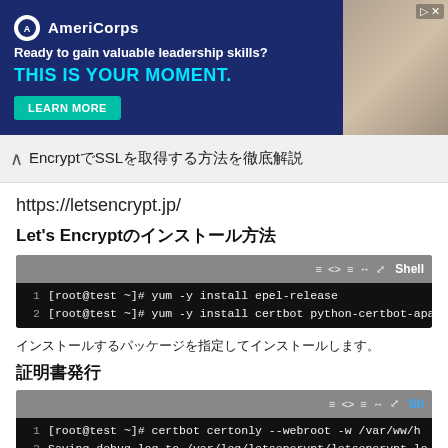[Figure (screenshot): AmeriCorps advertisement banner: 'Ready to gain valuable leadership skills? THIS IS YOUR MOMENT. LEARN MORE']
Let's EncryptでSSLを取得する方法を徹底解説
https://letsencrypt.jp/
Let's Encryptのインストール方法
[Figure (screenshot): Code block showing shell commands: '1 [root@test ~]# yum -y install epel-release' and '2 [root@test ~]# yum -y install certbot python-certbot-apa']
certbotとpython-certbot-apacheをインストールします。
証明書発行
[Figure (screenshot): Code block showing certbot command and output: '1 [root@test ~]# certbot certonly --webroot -w /var/ww/h', '2 Saving debug log to /var/log/letsencrypt/letsencrypt.lo', '3 Plugins selected: Authenticator webroot, Installer None', '4 Enter email address (used for urgent renewal and securi']